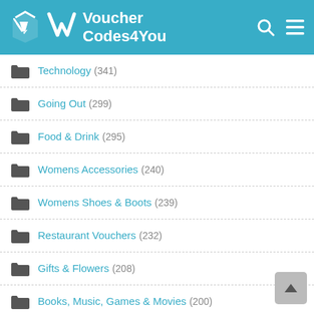VoucherCodes4You
Technology (341)
Going Out (299)
Food & Drink (295)
Womens Accessories (240)
Womens Shoes & Boots (239)
Restaurant Vouchers (232)
Gifts & Flowers (208)
Books, Music, Games & Movies (200)
Gifts (192)
Business (166)